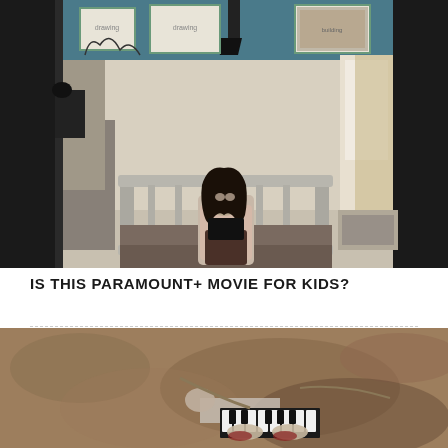[Figure (photo): A young woman with dark hair sitting on a metal-framed hospital-style bed in a sparse institutional room, holding a black object, with drawings and artwork pinned to the wall behind her, a lamp above, and a window with curtains on the right.]
IS THIS PARAMOUNT+ MOVIE FOR KIDS?
[Figure (photo): An aerial or close-up view of rocky desert terrain with a person visible near what appears to be a keyboard or piano instrument on the ground.]